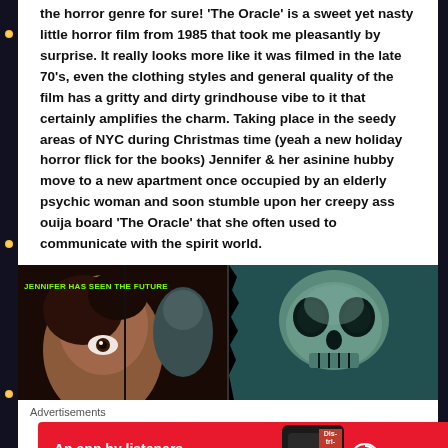the horror genre for sure! 'The Oracle' is a sweet yet nasty little horror film from 1985 that took me pleasantly by surprise. It really looks more like it was filmed in the late 70's, even the clothing styles and general quality of the film has a gritty and dirty grindhouse vibe to it that certainly amplifies the charm. Taking place in the seedy areas of NYC during Christmas time (yeah a new holiday horror flick for the books) Jennifer & her asinine hubby move to a new apartment once occupied by an elderly psychic woman and soon stumble upon her creepy ass ouija board 'The Oracle' that she often used to communicate with the spirit world.
[Figure (photo): Movie poster/still image on the left showing a woman's face with wide eye and green text 'JENNIFER HAS SEEN THE FUTURE', and on the right a horror skull/zombie face on teal background]
Advertisements
[Figure (photo): Pocket Casts advertisement banner: red background with text 'An app by listeners, for listeners.' with a phone showing 'Dis-tri-buted' and Pocket Casts logo]